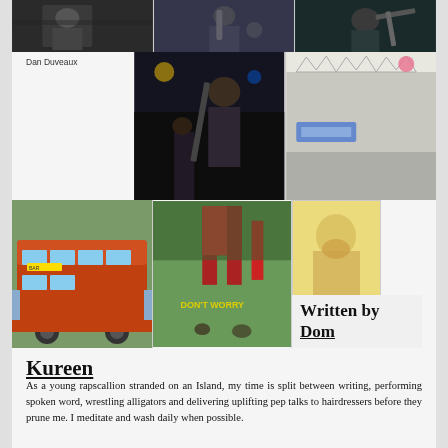[Figure (photo): Three photos in a row at top: person at event, musician playing brass instrument, musician with guitar]
Dan Duveaux
[Figure (photo): Two concert/event photos: band performing on stage at night, outdoor marquee/tent venue with DJ]
[Figure (photo): Three photos: red double-decker bus converted to bar/shop, outdoor festival with 'DON'T WORRY' sign and flags, person in bright sunlight]
Written by Dom
Kureen
As a young rapscallion stranded on an Island, my time is split between writing, performing spoken word, wrestling alligators and delivering uplifting pep talks to hairdressers before they prune me. I meditate and wash daily when possible.